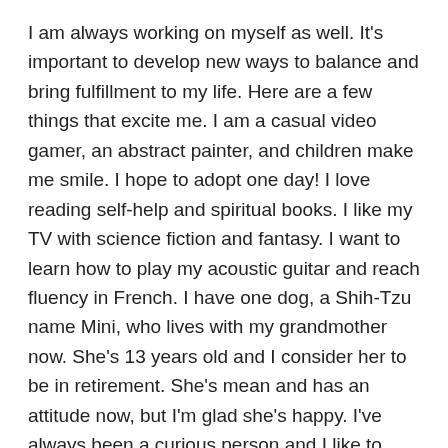I am always working on myself as well. It's important to develop new ways to balance and bring fulfillment to my life. Here are a few things that excite me. I am a casual video gamer, an abstract painter, and children make me smile. I hope to adopt one day! I love reading self-help and spiritual books. I like my TV with science fiction and fantasy. I want to learn how to play my acoustic guitar and reach fluency in French. I have one dog, a Shih-Tzu name Mini, who lives with my grandmother now. She's 13 years old and I consider her to be in retirement. She's mean and has an attitude now, but I'm glad she's happy. I've always been a curious person and I like to discover new things. I think all people are interesting and have something to offer to the world rather they know it or not.